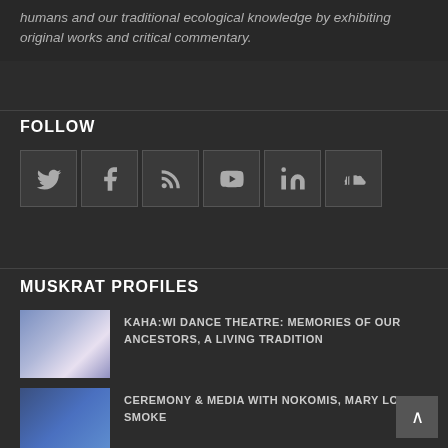humans and our traditional ecological knowledge by exhibiting original works and critical commentary.
FOLLOW
[Figure (infographic): Six social media icon buttons in a row: Twitter, Facebook, RSS feed, YouTube, LinkedIn, SoundCloud]
MUSKRAT PROFILES
[Figure (photo): Thumbnail image for Kaha:wi Dance Theatre article]
KAHA:WI DANCE THEATRE: MEMORIES OF OUR ANCESTORS, A LIVING TRADITION
[Figure (photo): Thumbnail image for Ceremony and Media article]
CEREMONY & MEDIA WITH NOKOMIS, MARY LOU SMOKE
[Figure (photo): Thumbnail image for Glen Gould article]
GLEN GOULD KEEPS IT REAL: PART TWO